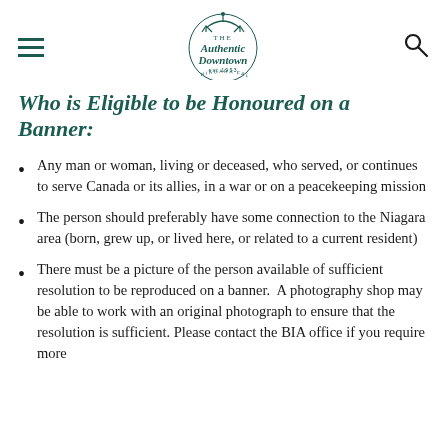The Authentic Downtown — Niagara Falls
Who is Eligible to be Honoured on a Banner:
Any man or woman, living or deceased, who served, or continues to serve Canada or its allies, in a war or on a peacekeeping mission
The person should preferably have some connection to the Niagara area (born, grew up, or lived here, or related to a current resident)
There must be a picture of the person available of sufficient resolution to be reproduced on a banner. A photography shop may be able to work with an original photograph to ensure that the resolution is sufficient. Please contact the BIA office if you require more